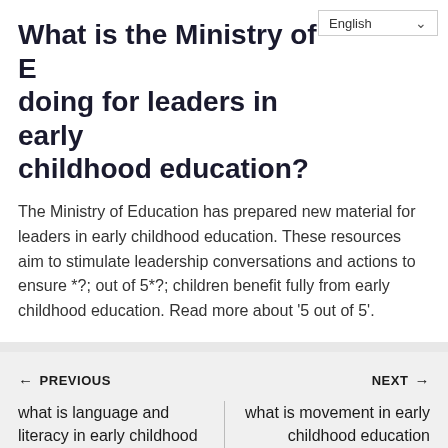What is the Ministry of Education doing for leaders in early childhood education?
The Ministry of Education has prepared new material for leaders in early childhood education. These resources aim to stimulate leadership conversations and actions to ensure ⁪? out of 5⁪? children benefit fully from early childhood education. Read more about '5 out of 5'.
← PREVIOUS | what is language and literacy in early childhood education
NEXT → | what is movement in early childhood education